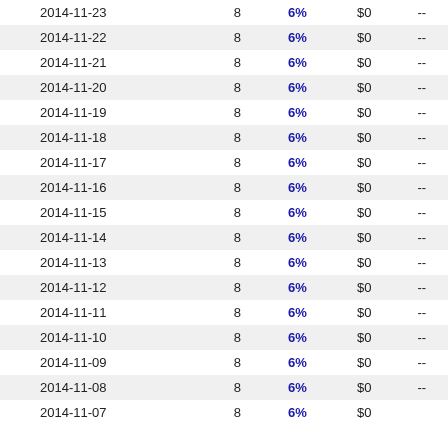| 2014-11-23 | 8 | 6% | $0 | -- |
| 2014-11-22 | 8 | 6% | $0 | -- |
| 2014-11-21 | 8 | 6% | $0 | -- |
| 2014-11-20 | 8 | 6% | $0 | -- |
| 2014-11-19 | 8 | 6% | $0 | -- |
| 2014-11-18 | 8 | 6% | $0 | -- |
| 2014-11-17 | 8 | 6% | $0 | -- |
| 2014-11-16 | 8 | 6% | $0 | -- |
| 2014-11-15 | 8 | 6% | $0 | -- |
| 2014-11-14 | 8 | 6% | $0 | -- |
| 2014-11-13 | 8 | 6% | $0 | -- |
| 2014-11-12 | 8 | 6% | $0 | -- |
| 2014-11-11 | 8 | 6% | $0 | -- |
| 2014-11-10 | 8 | 6% | $0 | -- |
| 2014-11-09 | 8 | 6% | $0 | -- |
| 2014-11-08 | 8 | 6% | $0 | -- |
| 2014-11-07 | 8 | 6% | $0 | -- |